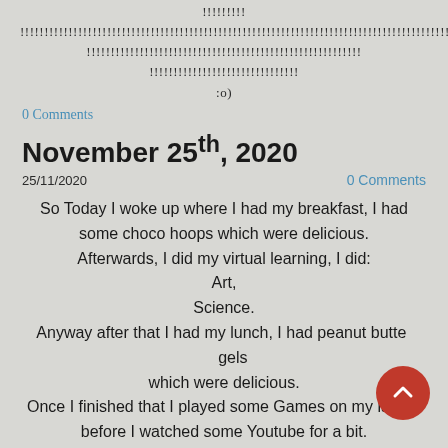!!!!!!!!! !!!!!!!!!!!!!!!!!!!!!!!!!!!!!!!!!!!!!!!!!!!!!!!!!!!!!!!!!!!!!!!!!!!!!!!!!!!!!!!!!!!!!!!!!!!!!! !!!!!!!!!!!!!!!!!!!!!!!!!!!!!!!!!!!!!!!!!!!!!!!!!!!!!!! !!!!!!!!!!!!!!!!!!!!!!!!!!!!! :o)
0 Comments
November 25th, 2020
25/11/2020
0 Comments
So Today I woke up where I had my breakfast, I had some choco hoops which were delicious. Afterwards, I did my virtual learning, I did: Art, Science. Anyway after that I had my lunch, I had peanut butter bagels which were delicious. Once I finished that I played some Games on my laptop before I watched some Youtube for a bit.